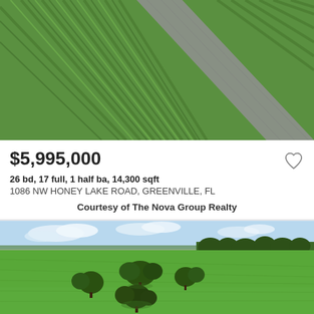[Figure (photo): Aerial view of green crop rows with a gravel path cutting diagonally through them]
$5,995,000
26 bd, 17 full, 1 half ba, 14,300 sqft
1086 NW HONEY LAKE ROAD, GREENVILLE, FL
Courtesy of The Nova Group Realty
[Figure (photo): Aerial view of expansive green pasture with scattered oak trees, bordered by dense forest on the right, under a partly cloudy sky]